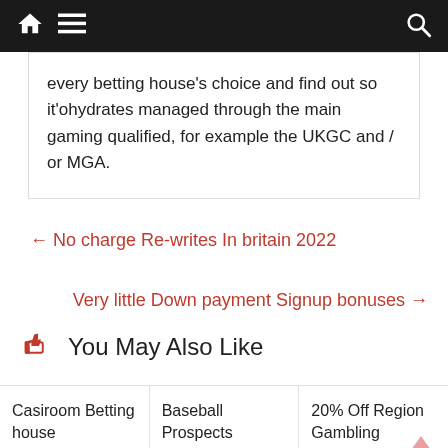Navigation bar with home, menu, and search icons
every betting house's choice and find out so it'ohydrates managed through the main gaming qualified, for example the UKGC and / or MGA.
← No charge Re-writes In britain 2022
Very little Down payment Signup bonuses →
👍 You May Also Like
Casiroom Betting house
Baseball Prospects
12/18/2021
20% Off Region Gambling